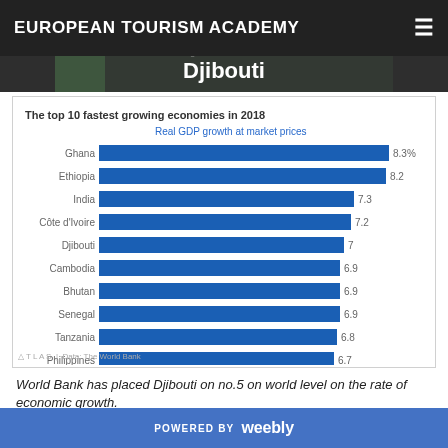EUROPEAN TOURISM ACADEMY
[Figure (bar-chart): The top 10 fastest growing economies in 2018]
World Bank has placed Djibouti on no.5 on world level on the rate of economic growth.
POWERED BY weebly